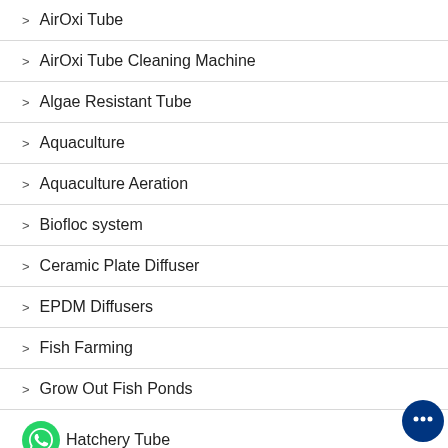AirOxi Tube
AirOxi Tube Cleaning Machine
Algae Resistant Tube
Aquaculture
Aquaculture Aeration
Biofloc system
Ceramic Plate Diffuser
EPDM Diffusers
Fish Farming
Grow Out Fish Ponds
Hatchery Tube